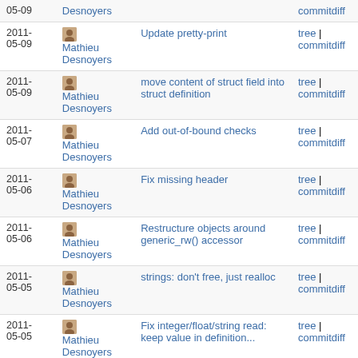| Date | Author | Message | Links |
| --- | --- | --- | --- |
| 2011-05-09 | Mathieu Desnoyers |  | commitdiff |
| 2011-05-09 | Mathieu Desnoyers | Update pretty-print | tree | commitdiff |
| 2011-05-09 | Mathieu Desnoyers | move content of struct field into struct definition | tree | commitdiff |
| 2011-05-07 | Mathieu Desnoyers | Add out-of-bound checks | tree | commitdiff |
| 2011-05-06 | Mathieu Desnoyers | Fix missing header | tree | commitdiff |
| 2011-05-06 | Mathieu Desnoyers | Restructure objects around generic_rw() accessor | tree | commitdiff |
| 2011-05-05 | Mathieu Desnoyers | strings: don't free, just realloc | tree | commitdiff |
| 2011-05-05 | Mathieu Desnoyers | Fix integer/float/string read: keep value in definition... | tree | commitdiff |
| 2011-05-05 | Mathieu Desnoyers | Add array and sequence "len" accessor | tree | commitdiff |
| 2011- | Mathieu | Start packet mmap work | tree | |